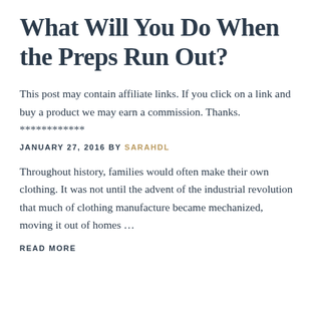What Will You Do When the Preps Run Out?
This post may contain affiliate links. If you click on a link and buy a product we may earn a commission. Thanks. ************
JANUARY 27, 2016 BY SARAHDL
Throughout history, families would often make their own clothing. It was not until the advent of the industrial revolution that much of clothing manufacture became mechanized, moving it out of homes …
READ MORE